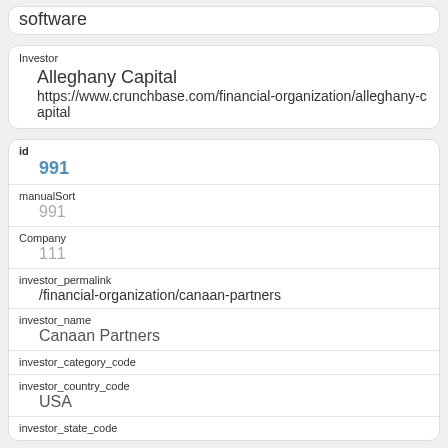software
Investor
Alleghany Capital
https://www.crunchbase.com/financial-organization/alleghany-capital
id
991
manualSort
991
Company
111
investor_permalink
/financial-organization/canaan-partners
investor_name
Canaan Partners
investor_category_code
investor_country_code
USA
investor_state_code